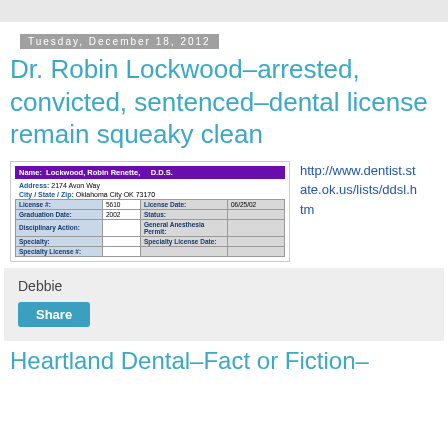Tuesday, December 18, 2012
Dr. Robin Lockwood–arrested, convicted, sentenced–dental license remain squeaky clean
[Figure (screenshot): Screenshot of Oklahoma dental license lookup showing Lockwood, Robin Renette, D.D.S., address 2174 Avon Way, Oklahoma City OK 73170, License #5610, License Date 06/25/02, Graduation Date 2002]
http://www.dentist.state.ok.us/lists/ddsl.htm
Debbie
Share
Heartland Dental–Fact or Fiction–